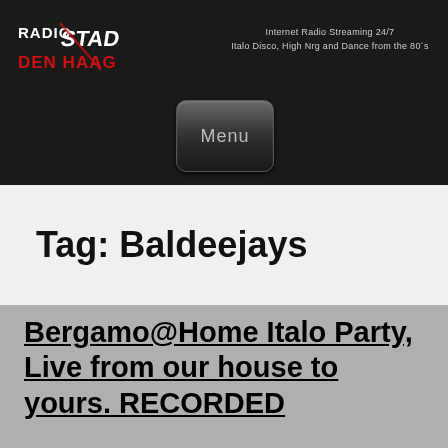[Figure (logo): Radio Stad Den Haag logo with stylized red and white text]
Internet Radio Streaming 24/7
Italo Disco, High Nrg and Dance from the 80´s
[Figure (other): Dark rounded square Menu button]
Tag: Baldeejays
Bergamo@Home Italo Party, Live from our house to yours. RECORDED